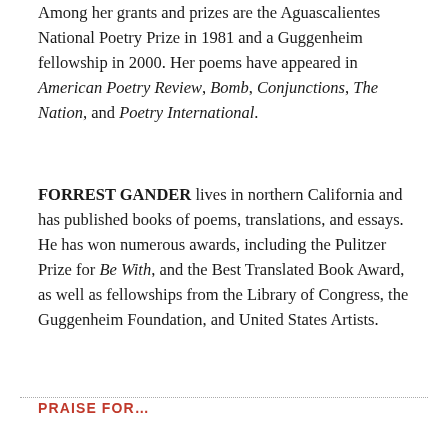Among her grants and prizes are the Aguascalientes National Poetry Prize in 1981 and a Guggenheim fellowship in 2000. Her poems have appeared in American Poetry Review, Bomb, Conjunctions, The Nation, and Poetry International.
FORREST GANDER lives in northern California and has published books of poems, translations, and essays. He has won numerous awards, including the Pulitzer Prize for Be With, and the Best Translated Book Award, as well as fellowships from the Library of Congress, the Guggenheim Foundation, and United States Artists.
PRAISE FOR...
Her work has altered the landscape of Mexican poetry in a way that is comparable to John Ashbery's in the U.S.
— Poetry
Our losses have a way of locking us inside ourselves. But in It Must Be a Misunderstanding, Bracho endeavors against the